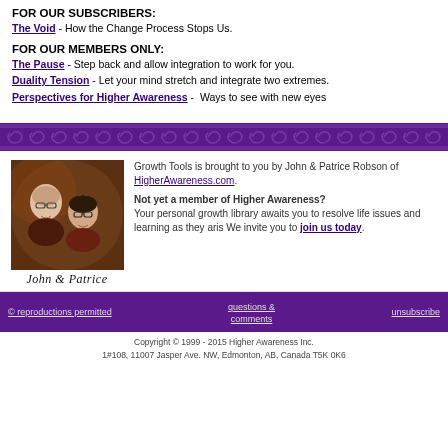FOR OUR SUBSCRIBERS:
The Void - How the Change Process Stops Us.
FOR OUR MEMBERS ONLY:
The Pause - Step back and allow integration to work for you.
Duality Tension - Let your mind stretch and integrate two extremes.
Perspectives for Higher Awareness -  Ways to see with new eyes
[Figure (illustration): Decorative purple spiral/scroll pattern divider bar]
[Figure (photo): Photo of John and Patrice Robson, a couple smiling, with signature 'John & Patrice' below]
Growth Tools is brought to you by John & Patrice Robson of HigherAwareness.com.
Not yet a member of Higher Awareness? Your personal growth library awaits you to resolve life issues and learning as they aris We invite you to join us today.
© reproductions permitted    questions & comments    unsubscribe
Copyright © 1999 - 2015 Higher Awareness Inc.
1#108, 11007 Jasper Ave. NW, Edmonton, AB, Canada T5K 0K6